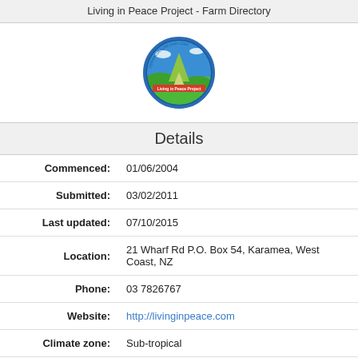Living in Peace Project - Farm Directory
[Figure (logo): Living in Peace Project circular logo with green landscape and blue sky]
Details
| Commenced: | 01/06/2004 |
| Submitted: | 03/02/2011 |
| Last updated: | 07/10/2015 |
| Location: | 21 Wharf Rd P.O. Box 54, Karamea, West Coast, NZ |
| Phone: | 03 7826767 |
| Website: | http://livinginpeace.com |
| Climate zone: | Sub-tropical |